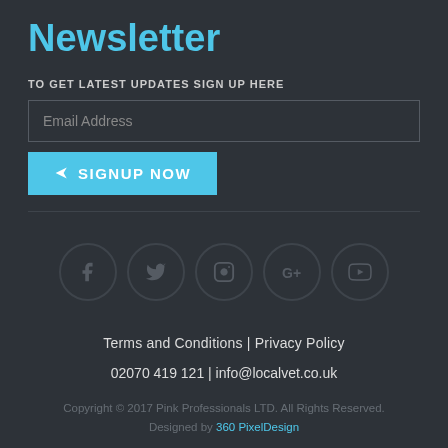Newsletter
TO GET LATEST UPDATES SIGN UP HERE
Email Address
SIGNUP NOW
[Figure (illustration): Row of five social media icon circles: Facebook (f), Twitter (bird), Instagram (camera), Google+ (G+), YouTube (play)]
Terms and Conditions | Privacy Policy
02070 419 121 | info@localvet.co.uk
Copyright © 2017 Pink Professionals LTD. All Rights Reserved. Designed by 360 PixelDesign